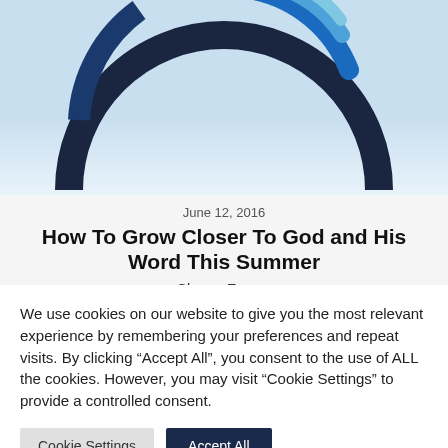[Figure (logo): Partial circular logo with dark navy and blue arc shapes on a light blue gradient background, cropped at top]
June 12, 2016
How To Grow Closer To God and His Word This Summer
Shawn Franco
We use cookies on our website to give you the most relevant experience by remembering your preferences and repeat visits. By clicking “Accept All”, you consent to the use of ALL the cookies. However, you may visit "Cookie Settings" to provide a controlled consent.